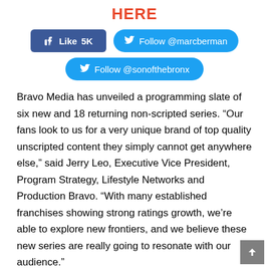HERE
[Figure (other): Social media buttons: Facebook Like (5K), Follow @marcberman on Twitter, Follow @sonofthebronx on Twitter]
Bravo Media has unveiled a programming slate of six new and 18 returning non-scripted series. “Our fans look to us for a very unique brand of top quality unscripted content they simply cannot get anywhere else,” said Jerry Leo, Executive Vice President, Program Strategy, Lifestyle Networks and Production Bravo. “With many established franchises showing strong ratings growth, we’re able to explore new frontiers, and we believe these new series are really going to resonate with our audience.”